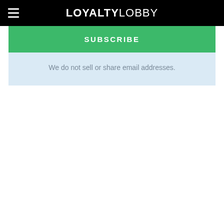LOYALTYLOBBY
SUBSCRIBE
We do not sell or share email addresses.